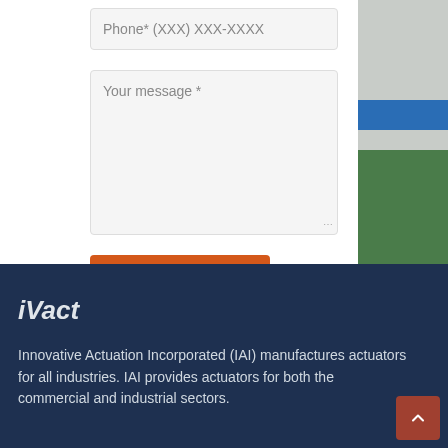Phone* (XXX) XXX-XXXX
Your message *
SUBMIT
[Figure (photo): Partial view of industrial equipment with blue pipe and green foliage visible]
iVact
Innovative Actuation Incorporated (IAI) manufactures actuators for all industries. IAI provides actuators for both the commercial and industrial sectors.